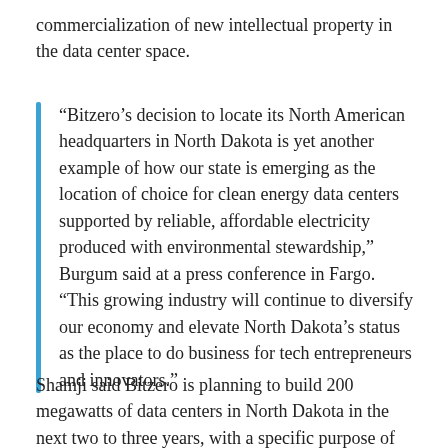commercialization of new intellectual property in the data center space.
“Bitzero’s decision to locate its North American headquarters in North Dakota is yet another example of how our state is emerging as the location of choice for clean energy data centers supported by reliable, affordable electricity produced with environmental stewardship,” Burgum said at a press conference in Fargo. “This growing industry will continue to diversify our economy and elevate North Dakota’s status as the place to do business for tech entrepreneurs and innovators.”
Shamji said Bitzero is planning to build 200 megawatts of data centers in North Dakota in the next two to three years, with a specific purpose of servicing state